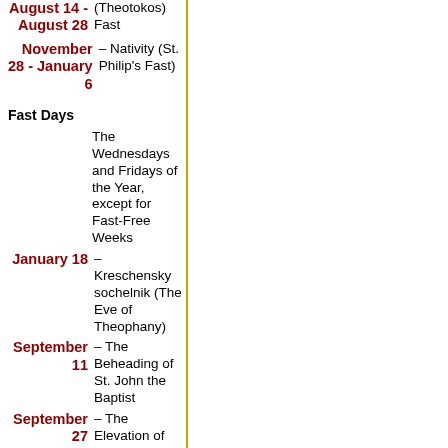August 14 - August 28 (Theotokos) Fast
November 28 - January 6 – Nativity (St. Philip's Fast)
Fast Days
The Wednesdays and Fridays of the Year, except for Fast-Free Weeks
January 18 – Kreschensky sochelnik (The Eve of Theophany)
September 11 – The Beheading of St. John the Baptist
September 27 – The Elevation of the Cross
Traditional days of remembrance
– Meat-fare...